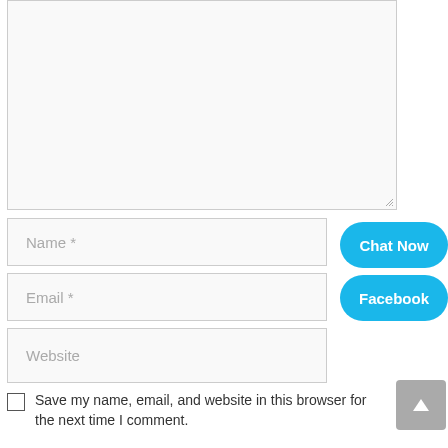[Figure (screenshot): A large empty textarea input box with a light gray border and resize handle in the bottom-right corner.]
Name *
Email *
Website
Chat Now
Facebook
Save my name, email, and website in this browser for the next time I comment.